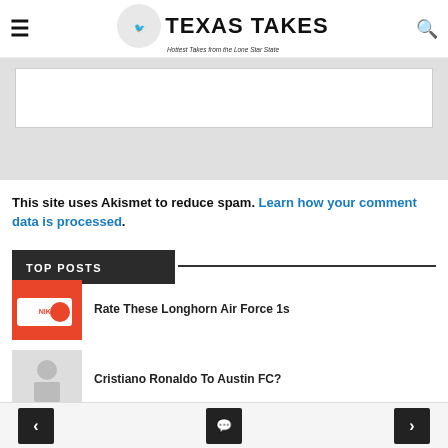Texas Takes — Hottest Takes from the Lone Star State
[Figure (other): Comment form input area — white box inside grey background]
This site uses Akismet to reduce spam. Learn how your comment data is processed.
TOP POSTS
Rate These Longhorn Air Force 1s
Cristiano Ronaldo To Austin FC?
Deion Sanders Is Not About That Opt-Out Life
< [chat icon] >